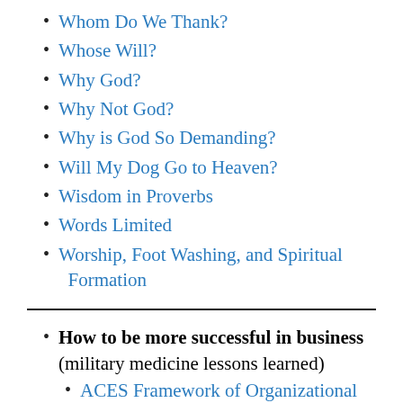Whom Do We Thank?
Whose Will?
Why God?
Why Not God?
Why is God So Demanding?
Will My Dog Go to Heaven?
Wisdom in Proverbs
Words Limited
Worship, Foot Washing, and Spiritual Formation
How to be more successful in business (military medicine lessons learned)
ACES Framework of Organizational